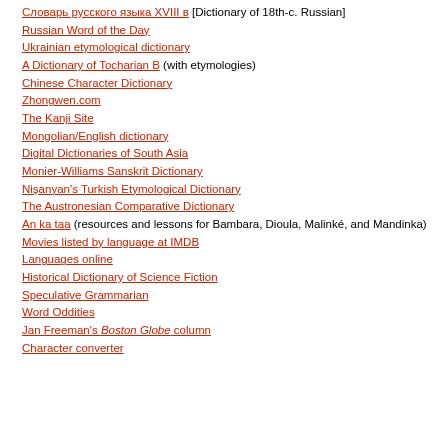Словарь русского языка XVIII в [Dictionary of 18th-c. Russian]
Russian Word of the Day
Ukrainian etymological dictionary
A Dictionary of Tocharian B (with etymologies)
Chinese Character Dictionary
Zhongwen.com
The Kanji Site
Mongolian/English dictionary
Digital Dictionaries of South Asia
Monier-Williams Sanskrit Dictionary
Nișanyan's Turkish Etymological Dictionary
The Austronesian Comparative Dictionary
An ka taa (resources and lessons for Bambara, Dioula, Malinké, and Mandinka)
Movies listed by language at IMDB
Languages online
Historical Dictionary of Science Fiction
Speculative Grammarian
Word Oddities
Jan Freeman's Boston Globe column
Character converter